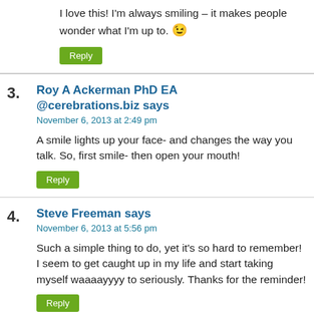I love this! I'm always smiling – it makes people wonder what I'm up to. 😉
Reply
3. Roy A Ackerman PhD EA @cerebrations.biz says
November 6, 2013 at 2:49 pm
A smile lights up your face- and changes the way you talk. So, first smile- then open your mouth!
Reply
4. Steve Freeman says
November 6, 2013 at 5:56 pm
Such a simple thing to do, yet it's so hard to remember! I seem to get caught up in my life and start taking myself waaaayyyy to seriously. Thanks for the reminder!
Reply